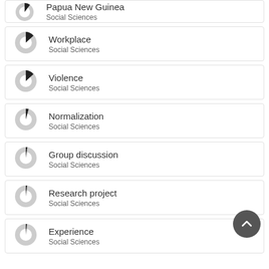Papua New Guinea — Social Sciences
Workplace — Social Sciences
Violence — Social Sciences
Normalization — Social Sciences
Group discussion — Social Sciences
Research project — Social Sciences
Experience — Social Sciences